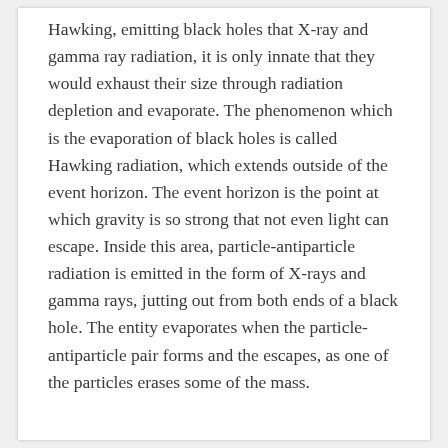Hawking, emitting black holes that X-ray and gamma ray radiation, it is only innate that they would exhaust their size through radiation depletion and evaporate. The phenomenon which is the evaporation of black holes is called Hawking radiation, which extends outside of the event horizon. The event horizon is the point at which gravity is so strong that not even light can escape. Inside this area, particle-antiparticle radiation is emitted in the form of X-rays and gamma rays, jutting out from both ends of a black hole. The entity evaporates when the particle-antiparticle pair forms and the escapes, as one of the particles erases some of the mass.